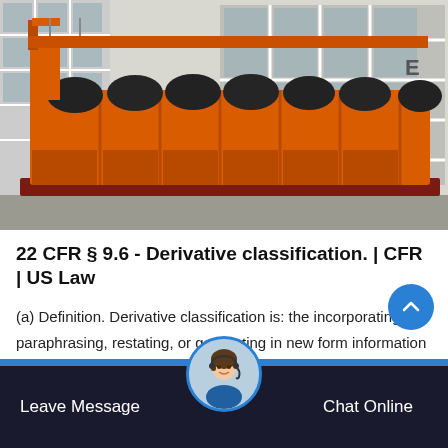[Figure (photo): Large orange industrial machinery (likely a vibrating screen or classifier) with multiple compartments and black cylindrical rollers on top, photographed in front of a white industrial building.]
22 CFR § 9.6 - Derivative classification. | CFR | US Law
(a) Definition. Derivative classification is: the incorporating, paraphrasing, restating, or generating in new form information that is already classified and the marking of the new material consistent...
[Figure (photo): Customer service representative avatar (woman with headset) in a circular frame on the bottom navigation bar.]
Leave Message   Chat Online